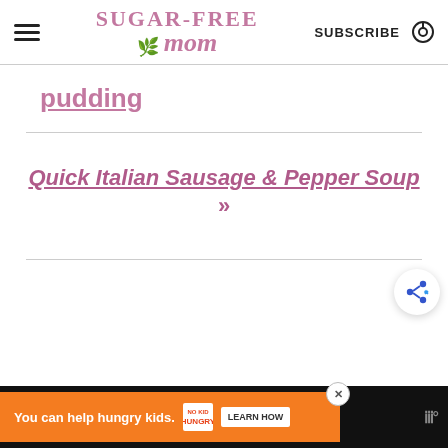Sugar-Free Mom | SUBSCRIBE
pudding
Quick Italian Sausage & Pepper Soup »
[Figure (other): Share button icon with blue share symbol]
[Figure (other): Advertisement bar: You can help hungry kids. No Kid Hungry. LEARN HOW]